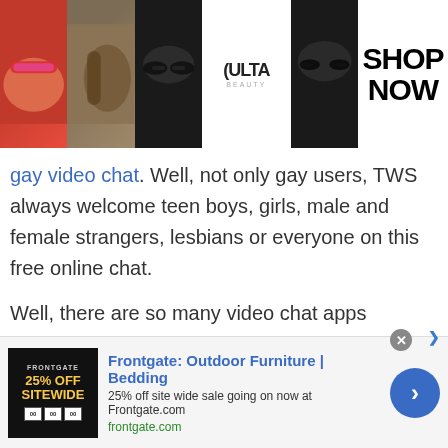[Figure (screenshot): Ulta Beauty makeup advertisement banner with cosmetic photos and SHOP NOW text]
gay video chat. Well, not only gay users, TWS always welcome teen boys, girls, male and female strangers, lesbians or everyone on this free online chat.
Well, there are so many video chat apps available across the internet. However, we suggest you all, not to go with video chat apps that are simply a waste of time. Always look for real-time quality video chat. TWS video cam chat is always fun as you will never experience any distortion or
[Figure (screenshot): Frontgate: Outdoor Furniture | Bedding advertisement banner. 25% off site wide sale going on now at Frontgate.com. frontgate.com]